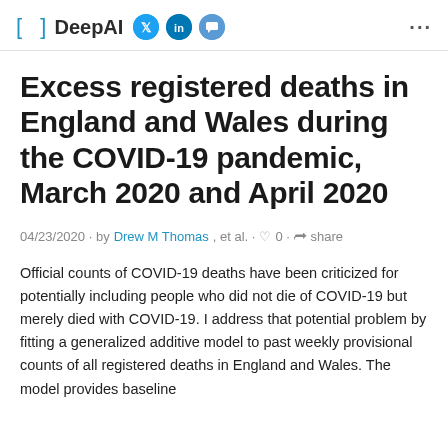[ ] DeepAI
Excess registered deaths in England and Wales during the COVID-19 pandemic, March 2020 and April 2020
04/23/2020 · by Drew M Thomas, et al. · ♡ 0 · share
Official counts of COVID-19 deaths have been criticized for potentially including people who did not die of COVID-19 but merely died with COVID-19. I address that potential problem by fitting a generalized additive model to past weekly provisional counts of all registered deaths in England and Wales. The model provides baseline